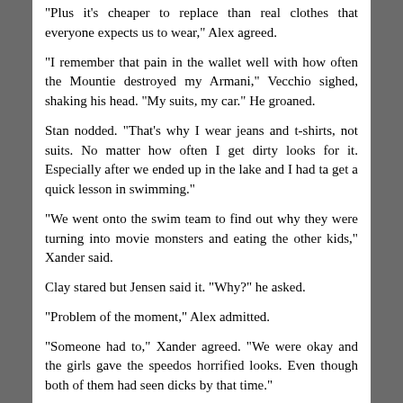"Plus it's cheaper to replace than real clothes that everyone expects us to wear," Alex agreed.
"I remember that pain in the wallet well with how often the Mountie destroyed my Armani," Vecchio sighed, shaking his head. "My suits, my car." He groaned.
Stan nodded. "That's why I wear jeans and t-shirts, not suits. No matter how often I get dirty looks for it. Especially after we ended up in the lake and I had ta get a quick lesson in swimming."
"We went onto the swim team to find out why they were turning into movie monsters and eating the other kids," Xander said.
Clay stared but Jensen said it. "Why?" he asked.
"Problem of the moment," Alex admitted.
"Someone had to," Xander agreed. "We were okay and the girls gave the speedos horrified looks. Even though both of them had seen dicks by that time."
Stan slapped himself on the forehead, leaning his head on his hand and moaning. "So did you two turn too?"
"No, we got detoxed," Xander said with a grin. "I'm the only one that shows it."